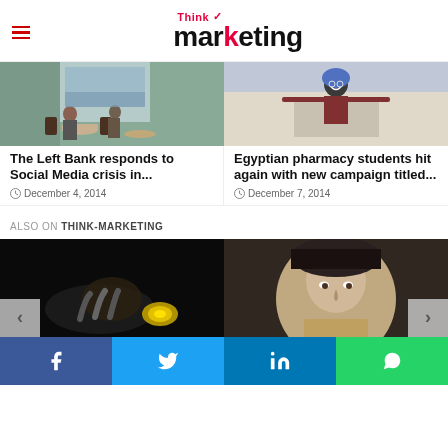Think marketing
[Figure (photo): Interior of The Left Bank restaurant/cafe with people seated at tables, large glass windows with river view]
The Left Bank responds to Social Media crisis in...
December 4, 2014
[Figure (photo): Man in bicycle helmet with arms outstretched standing on elevated surface]
Egyptian pharmacy students hit again with new campaign titled...
December 7, 2014
ALSO ON THINK-MARKETING
[Figure (photo): Dark image showing hands with glowing yellow objects]
[Figure (photo): Close-up portrait painting of a man in a hat, classical style]